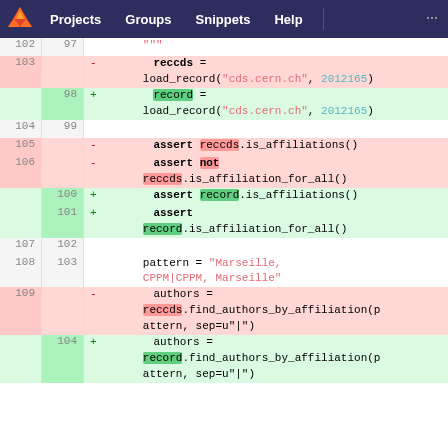GitLab navigation: Projects, Groups, Snippets, Help
[Figure (screenshot): GitLab code diff view showing changes to Python test file. Lines 102-109 (old) vs 97-104 (new). Shows renaming of variable 'reccds' to 'record' and related method calls including load_record, assert statements for is_affiliations() and is_affiliation_for_all(), pattern assignment, and find_authors_by_affiliation calls.]